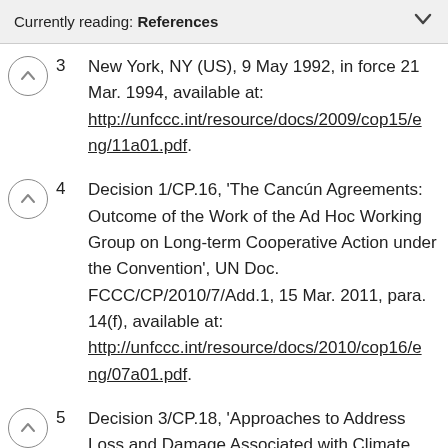Currently reading: References
3  New York, NY (US), 9 May 1992, in force 21 Mar. 1994, available at: http://unfccc.int/resource/docs/2009/cop15/eng/11a01.pdf.
4  Decision 1/CP.16, 'The Cancún Agreements: Outcome of the Work of the Ad Hoc Working Group on Long-term Cooperative Action under the Convention', UN Doc. FCCC/CP/2010/7/Add.1, 15 Mar. 2011, para. 14(f), available at: http://unfccc.int/resource/docs/2010/cop16/eng/07a01.pdf.
5  Decision 3/CP.18, 'Approaches to Address Loss and Damage Associated with Climate Change Impacts, particularly on Developing Countries that are particularly vulnerable'